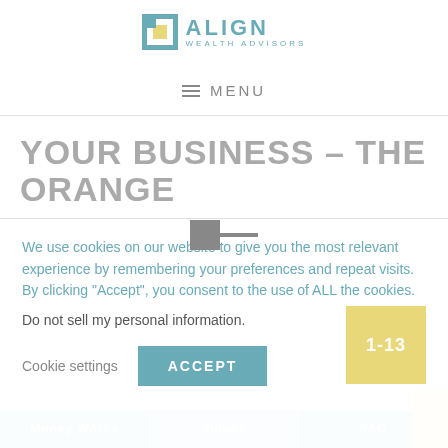[Figure (logo): Align Wealth Advisors logo with teal square icon and text]
≡ MENU
YOUR BUSINESS – THE ORANGE COW
We use cookies on our website to give you the most relevant experience by remembering your preferences and repeat visits. By clicking "Accept", you consent to the use of ALL the cookies.
Do not sell my personal information.
Cookie settings    ACCEPT
Money Works    Videos    PAG